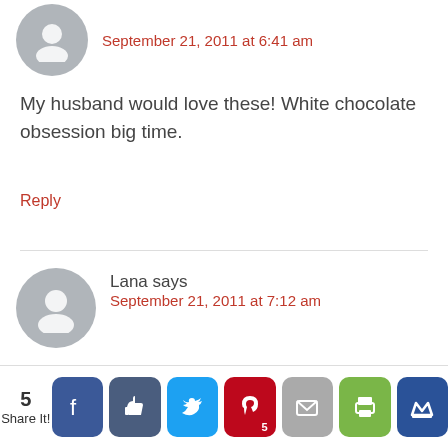September 21, 2011 at 6:41 am
My husband would love these! White chocolate obsession big time.
Reply
Lana says
September 21, 2011 at 7:12 am
White chocolate chips in Blondies are devine! Yum!
Reply
[Figure (other): Social share bar with 5 shares count, Facebook, Like, Twitter, Pinterest (5), Email, Print, Crown buttons]